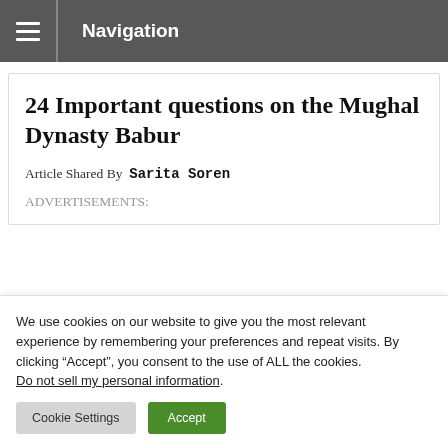Navigation
24 Important questions on the Mughal Dynasty Babur
Article Shared By  Sarita Soren
ADVERTISEMENTS:
We use cookies on our website to give you the most relevant experience by remembering your preferences and repeat visits. By clicking “Accept”, you consent to the use of ALL the cookies. Do not sell my personal information.